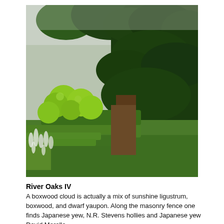[Figure (photo): Photograph of a formal garden with neatly trimmed boxwood hedges in geometric rows and rounded topiary spheres of sunshine ligustrum in the foreground. A tall, dense dark green hedge or fence of Japanese yew and hollies runs along the right side. White flowering plants (possibly salvia or similar) grow along the left edge. The sky is overcast gray.]
River Oaks IV
A boxwood cloud is actually a mix of sunshine ligustrum, boxwood, and dwarf yaupon. Along the masonry fence one finds Japanese yew, N.R. Stevens hollies and Japanese yew David Morello